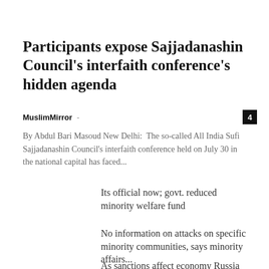Participants expose Sajjadanashin Council's interfaith conference's hidden agenda
MuslimMirror -
By Abdul Bari Masoud New Delhi:  The so-called All India Sufi Sajjadanashin Council's interfaith conference held on July 30 in the national capital has faced...
Its official now; govt. reduced minority welfare fund
No information on attacks on specific minority communities, says minority affairs...
As sanctions affect economy Russia mulls of